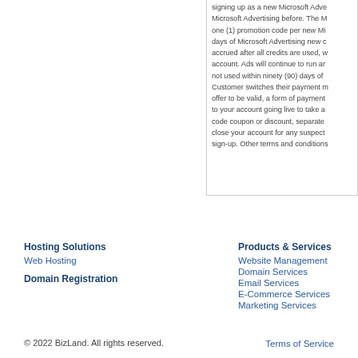signing up as a new Microsoft Adve Microsoft Advertising before. The M one (1) promotion code per new Mi days of Microsoft Advertising new c accrued after all credits are used, w account. Ads will continue to run ar not used within ninety (90) days of Customer switches their payment m offer to be valid, a form of payment to your account going live to take a code coupon or discount, separate close your account for any suspect sign-up. Other terms and conditions
Hosting Solutions
Web Hosting
Domain Registration
Products & Services
Website Management
Domain Services
Email Services
E-Commerce Services
Marketing Services
© 2022 BizLand. All rights reserved.
Terms of Service